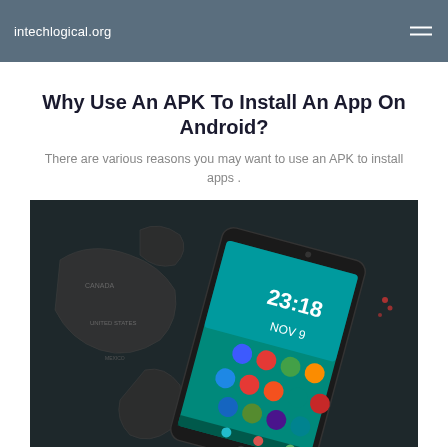intechlogical.org
Why Use An APK To Install An App On Android?
There are various reasons you may want to use an APK to install apps .
[Figure (photo): An Android smartphone displaying the time 23:18 and date NOV 9, lying on a dark world map background with colorful app icons visible on screen.]